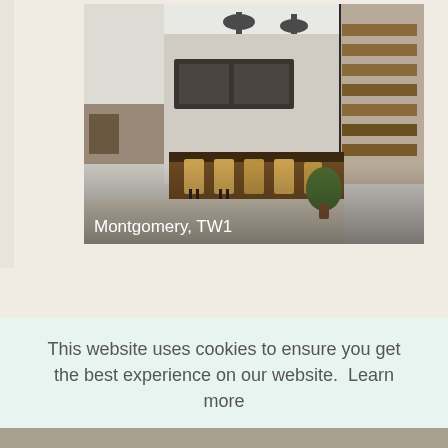[Figure (photo): Interior photo of a modern kitchen with dark island, bar stools, wood cabinetry, pendant lights, and a floating staircase. Location label reads 'Montgomery, TW1']
This website uses cookies to ensure you get the best experience on our website.  Learn more
Got it!